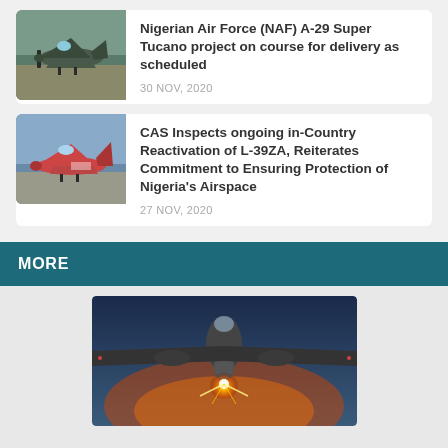[Figure (photo): Thumbnail photo of an A-29 Super Tucano military aircraft on the ground]
Nigerian Air Force (NAF) A-29 Super Tucano project on course for delivery as scheduled
30 NOV, 2020
[Figure (photo): Thumbnail photo of an L-39ZA military jet aircraft on a tarmac]
CAS Inspects ongoing in-Country Reactivation of L-39ZA, Reiterates Commitment to Ensuring Protection of Nigeria's Airspace
27 NOV, 2020
MORE
[Figure (photo): Large photo of a military jet aircraft firing a weapon, seen from below with a dramatic lighting effect]